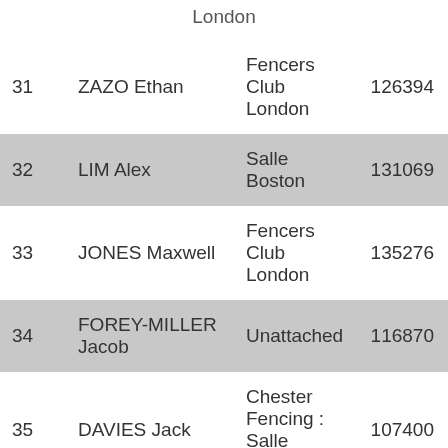| Rank | Name | Club | ID |
| --- | --- | --- | --- |
|  |  | London |  |
| 31 | ZAZO Ethan | Fencers Club London | 126394 |
| 32 | LIM Alex | Salle Boston | 131069 |
| 33 | JONES Maxwell | Fencers Club London | 135276 |
| 34 | FOREY-MILLER Jacob | Unattached | 116870 |
| 35 | DAVIES Jack | Chester Fencing : Salle Scipanovs | 107400 |
| 36 | AUSTIN Kiron | Fencers Club London | 113... |